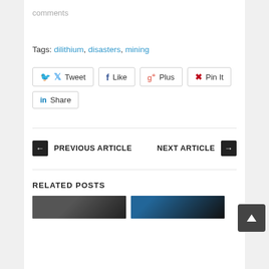comments
Tags: dilithium, disasters, mining
[Figure (other): Social sharing buttons: Tweet, Like, Plus, Pin It, Share]
PREVIOUS ARTICLE
NEXT ARTICLE
RELATED POSTS
[Figure (photo): Two thumbnail images for related posts]